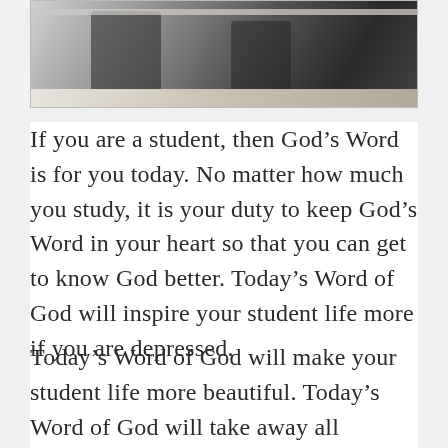[Figure (photo): Photo of students or people on stairs/railing, partially cropped at top of page, grayscale tones]
If you are a student, then God’s Word is for you today. No matter how much you study, it is your duty to keep God’s Word in your heart so that you can get to know God better. Today’s Word of God will inspire your student life more if you are depressed.
Today’s Word of God will make your student life more beautiful. Today’s Word of God will take away all worries in your student life. God’s Word will give courage to your student life today. Save your heart